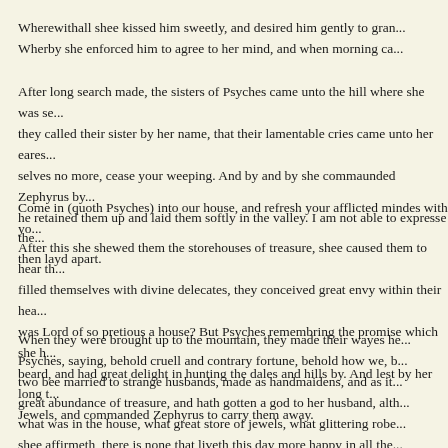Wherewithall shee kissed him sweetly, and desired him gently to gran... Wherby she enforced him to agree to her mind, and when morning ca...
After long search made, the sisters of Psyches came unto the hill where she was se... they called their sister by her name, that their lamentable cries came unto her eares... selves no more, cease your weeping. And by and by she commaunded Zephyrus by... he retained them up and laid them softly in the valley. I am not able to expresse the... then layd apart.
Come in (quoth Psyches) into our house, and refresh your afflicted mindes with yo...
After this she shewed them the storehouses of treasure, shee caused them to hear th... filled themselves with divine delecates, they conceived great envy within their hea... was Lord of so pretious a house? But Psyches remembring the promise which she h... beard, and had great delight in hunting the dales and hills by. And lest by her long t... Jewels, and commanded Zephyrus to carry them away.
When they were brought up to the mountain, they made their wayes he... Psyches, saying, behold cruell and contrary fortune, behold how we, b... two bee married to strange husbands, made as handmaidens, and as it... great abundance of treasure, and hath gotten a god to her husband, alth... what was in the house, what great store of jewels, what glittering robe... shee affirmeth, there is none that liveth this day more happy in all the... which became and come to be that they are more hale and become of...